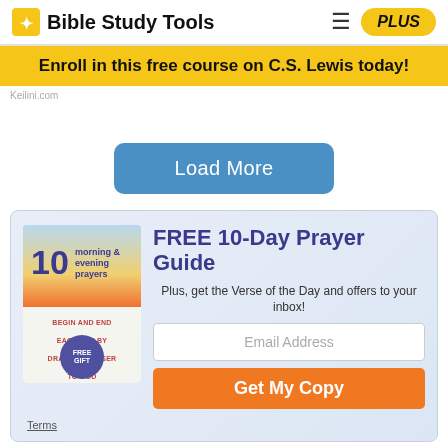Bible Study Tools
Enroll in this free course on C.S. Lewis today!
Keilini.com
Load More
[Figure (illustration): Promotional signup box with book cover for '10 morning & evening prayers' prayer guide]
FREE 10-Day Prayer Guide
Plus, get the Verse of the Day and offers to your inbox!
Email Address
Get My Copy
Terms